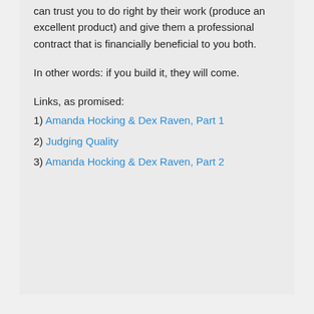can trust you to do right by their work (produce an excellent product) and give them a professional contract that is financially beneficial to you both.
In other words: if you build it, they will come.
Links, as promised:
1) Amanda Hocking & Dex Raven, Part 1
2) Judging Quality
3) Amanda Hocking & Dex Raven, Part 2